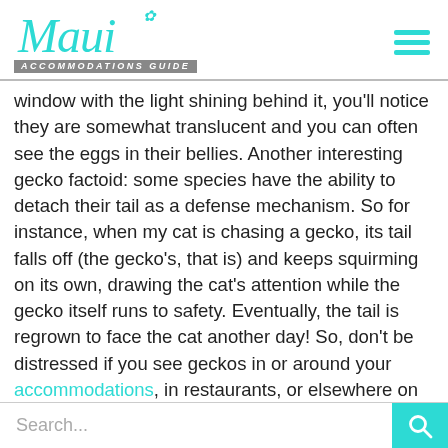Maui Accommodations Guide
window with the light shining behind it, you'll notice they are somewhat translucent and you can often see the eggs in their bellies. Another interesting gecko factoid: some species have the ability to detach their tail as a defense mechanism. So for instance, when my cat is chasing a gecko, its tail falls off (the gecko's, that is) and keeps squirming on its own, drawing the cat's attention while the gecko itself runs to safety. Eventually, the tail is regrown to face the cat another day! So, don't be distressed if you see geckos in or around your accommodations, in restaurants, or elsewhere on Maui. Geckos are our friends, and we have grown accustomed to seeing them dangling from our walls and hearing their little chirping sounds in our homes.